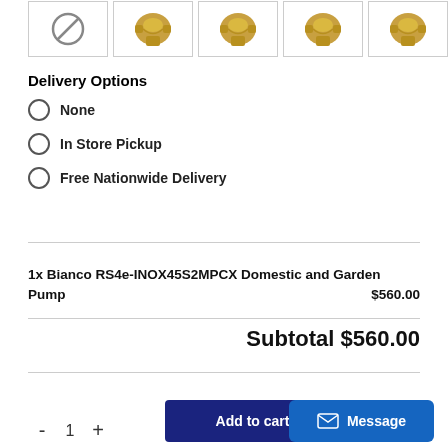[Figure (screenshot): Row of product thumbnail images: first cell shows a no-image (circle with line) placeholder, followed by four brass Y-strainer valve images]
Delivery Options
None
In Store Pickup
Free Nationwide Delivery
1x Bianco RS4e-INOX45S2MPCX Domestic and Garden Pump $560.00
Subtotal $560.00